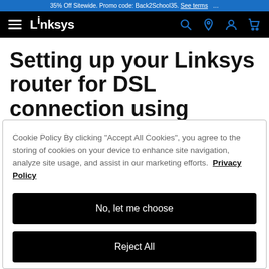35% Off Sitewide. Promo code: Back2School35. See terms
Linksys navigation bar with hamburger menu, search, location, account, cart icons
Setting up your Linksys router for DSL connection using Linksys Smart Wi-Fi
Cookie Policy By clicking "Accept All Cookies", you agree to the storing of cookies on your device to enhance site navigation, analyze site usage, and assist in our marketing efforts. Privacy Policy
No, let me choose
Reject All